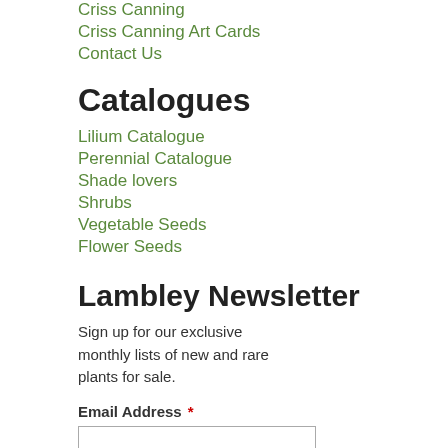Criss Canning
Criss Canning Art Cards
Contact Us
Catalogues
Lilium Catalogue
Perennial Catalogue
Shade lovers
Shrubs
Vegetable Seeds
Flower Seeds
Lambley Newsletter
Sign up for our exclusive monthly lists of new and rare plants for sale.
Email Address *